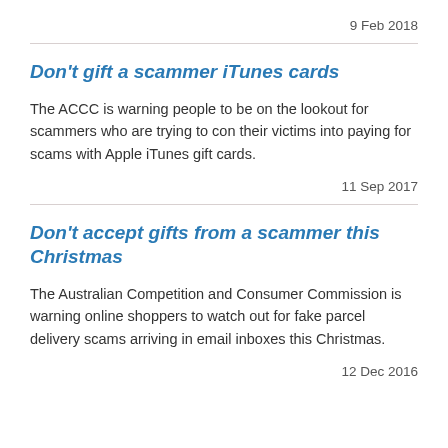9 Feb 2018
Don't gift a scammer iTunes cards
The ACCC is warning people to be on the lookout for scammers who are trying to con their victims into paying for scams with Apple iTunes gift cards.
11 Sep 2017
Don't accept gifts from a scammer this Christmas
The Australian Competition and Consumer Commission is warning online shoppers to watch out for fake parcel delivery scams arriving in email inboxes this Christmas.
12 Dec 2016